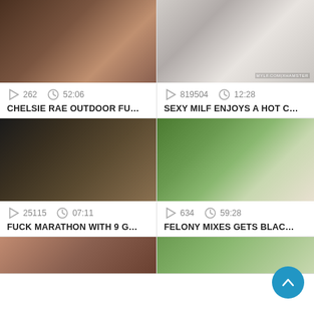[Figure (screenshot): Video thumbnail 1 - adult content]
262  52:06
CHELSIE RAE OUTDOOR FU...
[Figure (screenshot): Video thumbnail 2 - adult content, watermark MYLF.COM/XHAMSTER]
819504  12:28
SEXY MILF ENJOYS A HOT C...
[Figure (screenshot): Video thumbnail 3 - adult content]
25115  07:11
FUCK MARATHON WITH 9 G...
[Figure (screenshot): Video thumbnail 4 - pool/outdoor scene]
634  59:28
FELONY MIXES GETS BLAC...
[Figure (screenshot): Video thumbnail 5 - partial, adult content]
[Figure (screenshot): Video thumbnail 6 - partial, outdoor content]